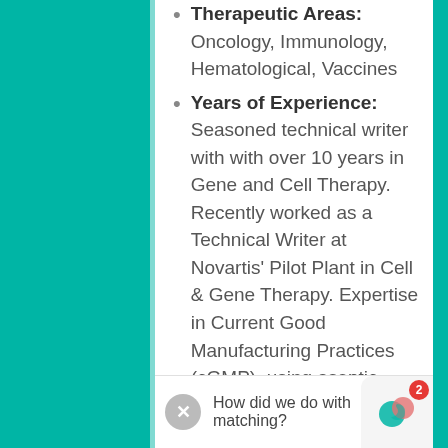Therapeutic Areas: Oncology, Immunology, Hematological, Vaccines
Years of Experience: Seasoned technical writer with with over 10 years in Gene and Cell Therapy. Recently worked as a Technical Writer at Novartis' Pilot Plant in Cell & Gene Therapy. Expertise in Current Good Manufacturing Practices (cGMP), using aseptic techniques, GLP and lab safety for OSHA regulations.
Previous Companies: Novartis, J&J and Teva Pharmaceuticals
How did we do with matching?